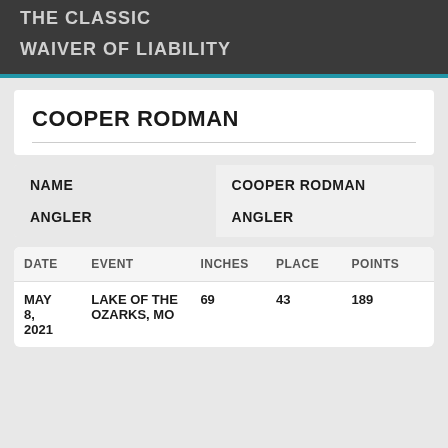THE CLASSIC
WAIVER OF LIABILITY
COOPER RODMAN
| NAME | COOPER RODMAN |
| --- | --- |
| ANGLER | ANGLER |
| DATE | EVENT | INCHES | PLACE | POINTS |
| --- | --- | --- | --- | --- |
| MAY 8, 2021 | LAKE OF THE OZARKS, MO | 69 | 43 | 189 |